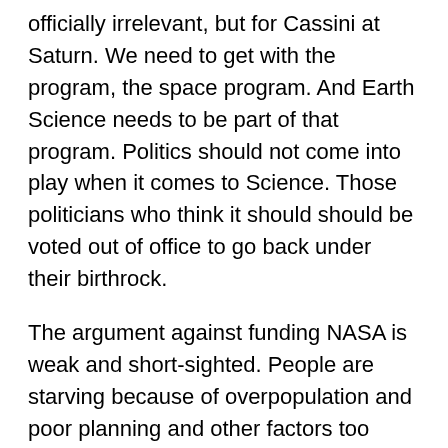officially irrelevant, but for Cassini at Saturn. We need to get with the program, the space program. And Earth Science needs to be part of that program. Politics should not come into play when it comes to Science. Those politicians who think it should should be voted out of office to go back under their birthrock.
The argument against funding NASA is weak and short-sighted. People are starving because of overpopulation and poor planning and other factors too myriad to go into here or Haumea. But don't blame Pluto, or Makemake for that matter!